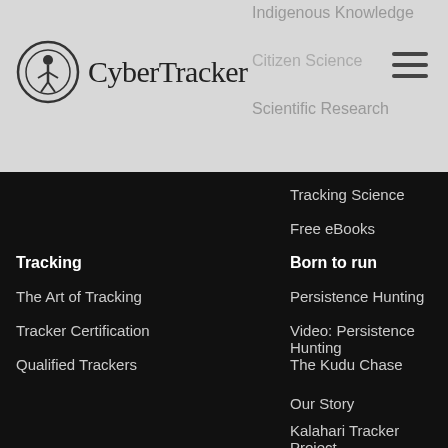CyberTracker
Indigenous Knowledge
Citizen Science
Scientific Research
Tracking Science
Free eBooks
Tracking
Born to run
The Art of Tracking
Persistence Hunting
Tracker Certification
Video: Persistence Hunting
Qualified Trackers
The Kudu Chase
Dangerous Animals
Yes, You were Born to Run
Dangerous Criminals
Running and Thinking
eBooks
More
Our Story
Kalahari Tracker Project
Contact Us